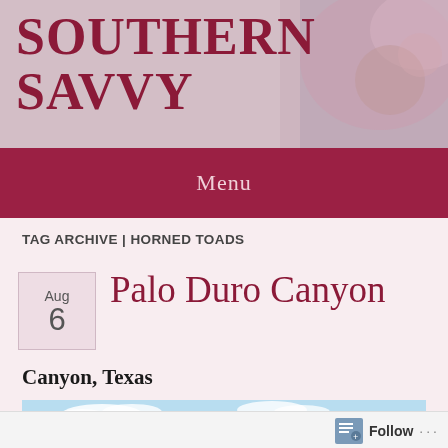SOUTHERN SAVVY
Menu
TAG ARCHIVE | HORNED TOADS
Aug 6
Palo Duro Canyon
Canyon, Texas
[Figure (photo): Partial sky/photo strip at bottom of post]
Follow ...